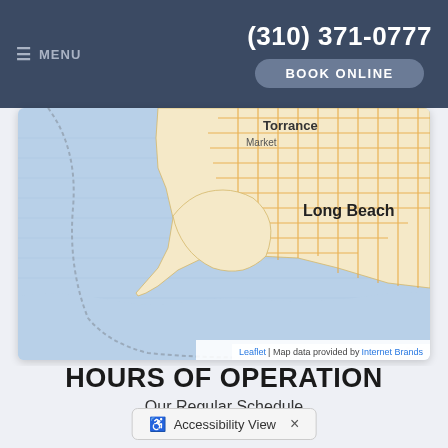≡ MENU  (310) 371-0777  BOOK ONLINE
[Figure (map): Map showing the Torrance and Long Beach area of Southern California, with street grid overlaid on a light blue water background. The map shows coastline, street networks in orange/tan, and labels for Torrance, Market, and Long Beach.]
Leaflet | Map data provided by Internet Brands
HOURS OF OPERATION
Our Regular Schedule
Accessibility View  ×